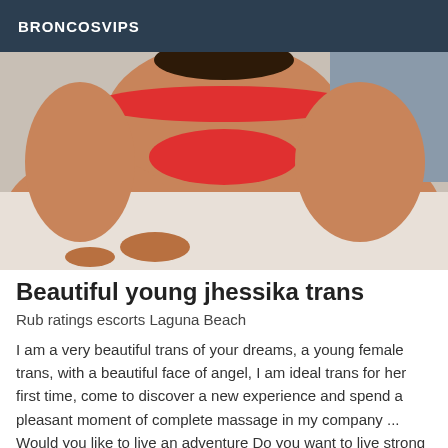BRONCOSVIPS
[Figure (photo): Photo of a person wearing a red bikini, posed on a white surface, cropped to show torso and legs only.]
Beautiful young jhessika trans
Rub ratings escorts Laguna Beach
I am a very beautiful trans of your dreams, a young female trans, with a beautiful face of angel, I am ideal trans for her first time, come to discover a new experience and spend a pleasant moment of complete massage in my company ... Would you like to live an adventure Do you want to live strong and intoxicating